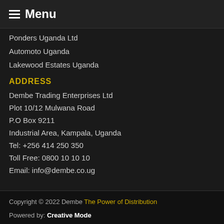≡ Menu
Ponders Uganda Ltd
Automoto Uganda
Lakewood Estates Uganda
ADDRESS
Dembe Trading Enterprises Ltd
Plot 10/12 Mulwana Road
P.O Box 9211
Industrial Area, Kampala, Uganda
Tel: +256 414 250 350
Toll Free: 0800 10 10 10
Email: info@dembe.co.ug
Copyright © 2022 Dembe The Power of Distribution
Powered by: Creative Mode